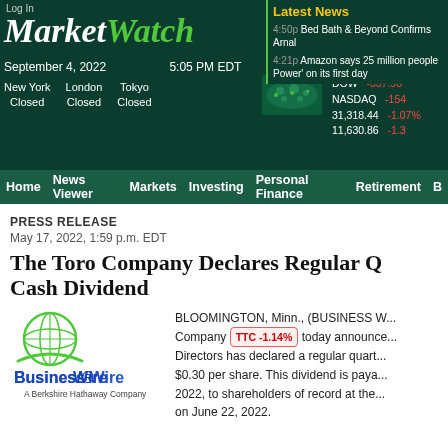Log In
MarketWatch
September 4, 2022   5:05 PM EDT
New York Closed   London Closed   Tokyo Closed
DOW -337.98  31,318.44  -1.07%   NASDAQ -154  11,630.86  -1.3
Latest News
4:50p Bed Bath & Beyond Confirms Arnal
4:21p Amazon says 25 million people Power' on its first day
Home  News Viewer  Markets  Investing  Personal Finance  Retirement  B
PRESS RELEASE
May 17, 2022, 1:59 p.m. EDT
The Toro Company Declares Regular Q Cash Dividend
[Figure (logo): Business Wire logo - A Berkshire Hathaway Company]
BLOOMINGTON, Minn., (BUSINESS W... Company TTC -1.14% today announce... Directors has declared a regular quart... $0.30 per share. This dividend is paya... 2022, to shareholders of record at the... on June 22, 2022.